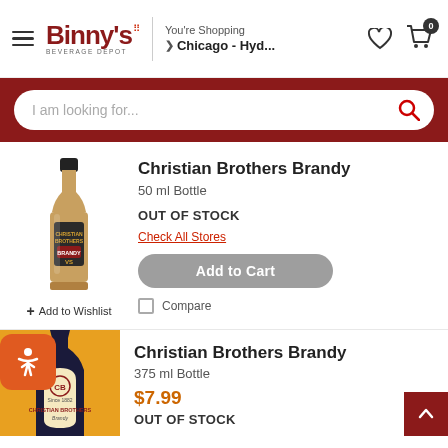Binny's Beverage Depot — You're Shopping Chicago - Hyd...
I am looking for...
Christian Brothers Brandy
50 ml Bottle
OUT OF STOCK
Check All Stores
Add to Cart
+ Add to Wishlist
Compare
Christian Brothers Brandy
375 ml Bottle
$7.99
OUT OF STOCK